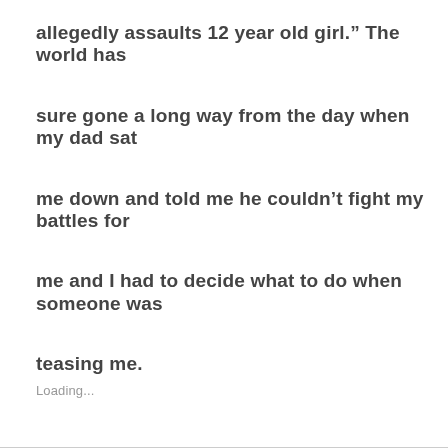allegedly assaults 12 year old girl.” The world has sure gone a long way from the day when my dad sat me down and told me he couldn’t fight my battles for me and I had to decide what to do when someone was teasing me.
Loading...